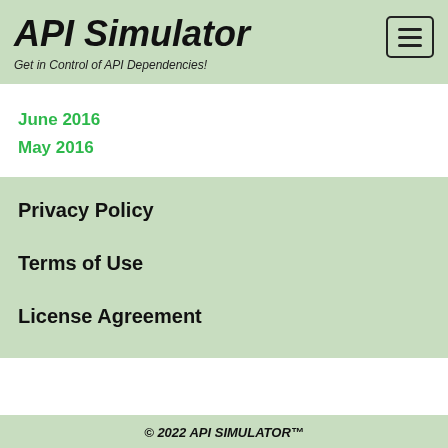API Simulator - Get in Control of API Dependencies!
June 2016
May 2016
Privacy Policy
Terms of Use
License Agreement
© 2022 API SIMULATOR™